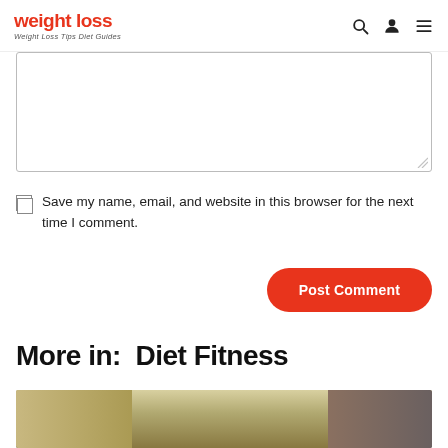weight loss — Weight Loss Tips Diet Guides
[Figure (other): Comment text area input box with resize handle]
Save my name, email, and website in this browser for the next time I comment.
Post Comment
More in:  Diet Fitness
[Figure (photo): Article thumbnail image showing shoes or athletic wear in tan, beige, and brown tones]